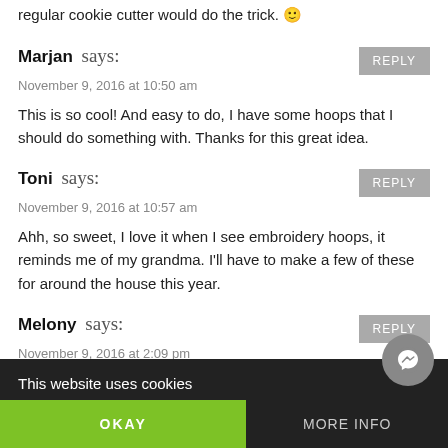regular cookie cutter would do the trick. 🙂
Marjan says:
November 9, 2016 at 10:50 am
This is so cool! And easy to do, I have some hoops that I should do something with. Thanks for this great idea.
Toni says:
November 9, 2016 at 10:57 am
Ahh, so sweet, I love it when I see embroidery hoops, it reminds me of my grandma. I'll have to make a few of these for around the house this year.
Melony says:
November 9, 2016 at 2:09 pm
This is so cute! (cut off text) Please share if you find the ones!
This website uses cookies
OKAY    MORE INFO